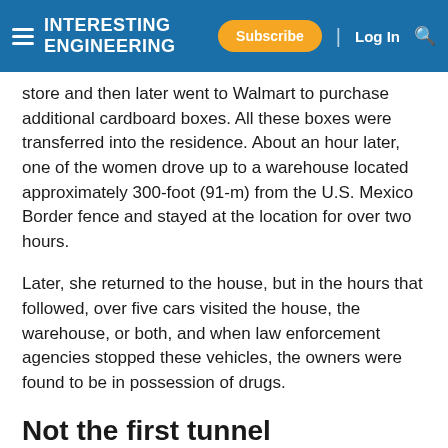INTERESTING ENGINEERING | Subscribe | Log In
store and then later went to Walmart to purchase additional cardboard boxes. All these boxes were transferred into the residence. About an hour later, one of the women drove up to a warehouse located approximately 300-foot (91-m) from the U.S. Mexico Border fence and stayed at the location for over two hours.
Later, she returned to the house, but in the hours that followed, over five cars visited the house, the warehouse, or both, and when law enforcement agencies stopped these vehicles, the owners were found to be in possession of drugs.
Not the first tunnel
Homeland Security agents then searched the warehouse and found the sophisticated tunnel system